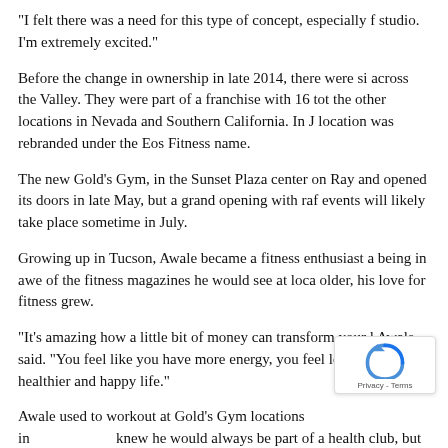“I felt there was a need for this type of concept, especially for this studio. I’m extremely excited.”
Before the change in ownership in late 2014, there were si across the Valley. They were part of a franchise with 16 tot the other locations in Nevada and Southern California. In J location was rebranded under the Eos Fitness name.
The new Gold’s Gym, in the Sunset Plaza center on Ray and opened its doors in late May, but a grand opening with raf events will likely take place sometime in July.
Growing up in Tucson, Awale became a fitness enthusiast a being in awe of the fitness magazines he would see at loca older, his love for fitness grew.
“It’s amazing how a little bit of money can transform your l Awale said. “You feel like you have more energy, you feel le have a much healthier and happy life.”
Awale used to workout at Gold’s Gym locations in knew he would always be part of a health club, but he neve